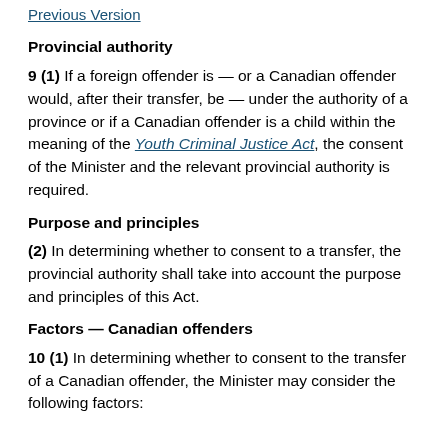Previous Version
Provincial authority
9 (1) If a foreign offender is — or a Canadian offender would, after their transfer, be — under the authority of a province or if a Canadian offender is a child within the meaning of the Youth Criminal Justice Act, the consent of the Minister and the relevant provincial authority is required.
Purpose and principles
(2) In determining whether to consent to a transfer, the provincial authority shall take into account the purpose and principles of this Act.
Factors — Canadian offenders
10 (1) In determining whether to consent to the transfer of a Canadian offender, the Minister may consider the following factors: